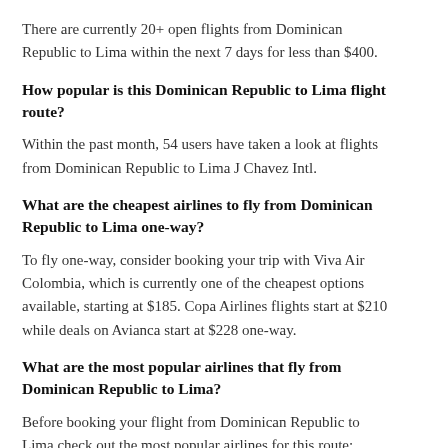There are currently 20+ open flights from Dominican Republic to Lima within the next 7 days for less than $400.
How popular is this Dominican Republic to Lima flight route?
Within the past month, 54 users have taken a look at flights from Dominican Republic to Lima J Chavez Intl.
What are the cheapest airlines to fly from Dominican Republic to Lima one-way?
To fly one-way, consider booking your trip with Viva Air Colombia, which is currently one of the cheapest options available, starting at $185. Copa Airlines flights start at $210 while deals on Avianca start at $228 one-way.
What are the most popular airlines that fly from Dominican Republic to Lima?
Before booking your flight from Dominican Republic to Lima check out the most popular airlines for this route: